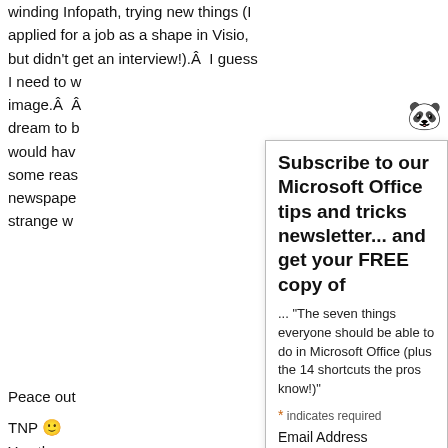winding Infopath, trying new things (I applied for a job as a shape in Visio, but didn't get an interview!).Â  I guess I need to w... image.Â  Â  dream to b... would hav... some reas... newspape... strange w...
for
a
[Figure (illustration): Small panda face emoji/icon in top right area]
Subscribe to our Microsoft Office tips and tricks newsletter... and get your FREE copy of
... "The seven things everyone should be able to do in Microsoft Office (plus the 14 shortcuts the pros know!)"
* indicates required
Email Address
First Name
Last Name
I hope you... .Â
I will be se... es
for all your... l
might ever... t
home or in...
work!
Peace out
TNP 🙂
You thoug... with